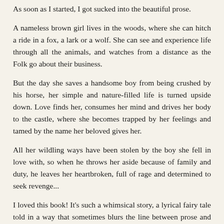As soon as I started, I got sucked into the beautiful prose.
A nameless brown girl lives in the woods, where she can hitch a ride in a fox, a lark or a wolf. She can see and experience life through all the animals, and watches from a distance as the Folk go about their business.
But the day she saves a handsome boy from being crushed by his horse, her simple and nature-filled life is turned upside down. Love finds her, consumes her mind and drives her body to the castle, where she becomes trapped by her feelings and tamed by the name her beloved gives her.
All her wildling ways have been stolen by the boy she fell in love with, so when he throws her aside because of family and duty, he leaves her heartbroken, full of rage and determined to seek revenge...
I loved this book! It's such a whimsical story, a lyrical fairy tale told in a way that sometimes blurs the line between prose and poem.